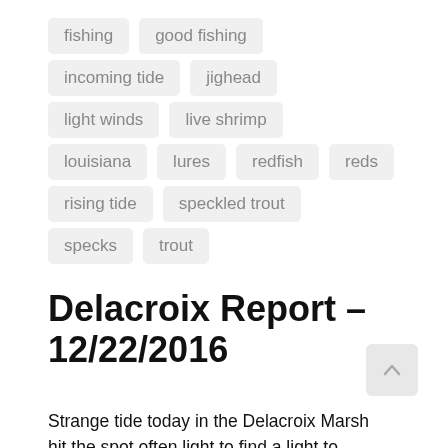fishing
good fishing
incoming tide
jighead
light winds
live shrimp
louisiana
lures
redfish
reds
rising tide
speckled trout
specks
trout
Delacroix Report – 12/22/2016
Strange tide today in the Delacroix Marsh hit the spot often light to find a light to